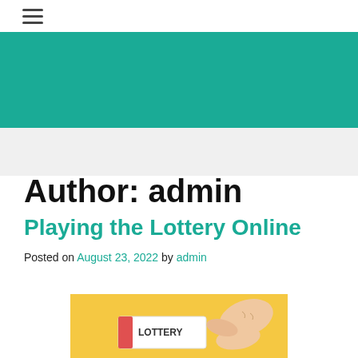≡
[Figure (illustration): Teal/green banner header background]
Author: admin
Playing the Lottery Online
Posted on August 23, 2022 by admin
[Figure (illustration): Hand holding a lottery ticket with 'LOTTERY' text on a yellow background]